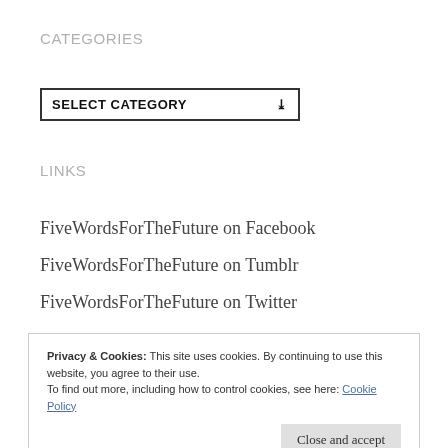CATEGORIES
SELECT CATEGORY ▾
LINKS
FiveWordsForTheFuture on Facebook
FiveWordsForTheFuture on Tumblr
FiveWordsForTheFuture on Twitter
Privacy & Cookies: This site uses cookies. By continuing to use this website, you agree to their use. To find out more, including how to control cookies, see here: Cookie Policy
Close and accept